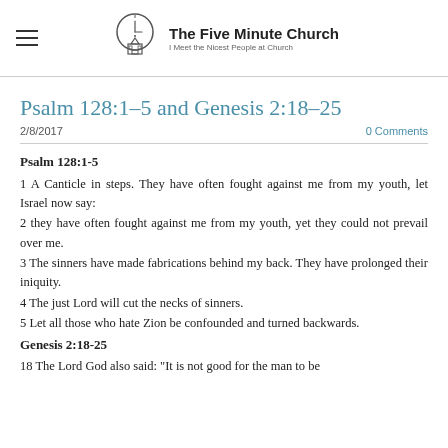The Five Minute Church — I Meet the Nicest People at Church
Psalm 128:1–5 and Genesis 2:18–25
2/8/2017   0 Comments
Psalm 128:1-5
1 A Canticle in steps. They have often fought against me from my youth, let Israel now say:
2 they have often fought against me from my youth, yet they could not prevail over me.
3 The sinners have made fabrications behind my back. They have prolonged their iniquity.
4 The just Lord will cut the necks of sinners.
5 Let all those who hate Zion be confounded and turned backwards.
Genesis 2:18-25
18 The Lord God also said: "It is not good for the man to be